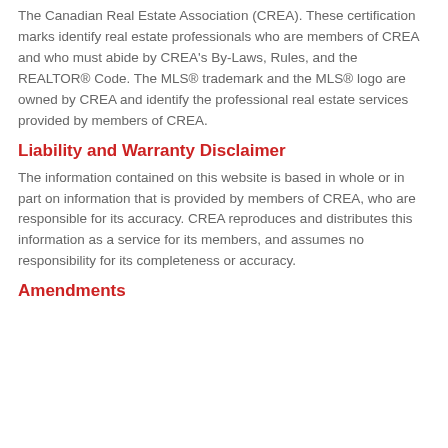The Canadian Real Estate Association (CREA). These certification marks identify real estate professionals who are members of CREA and who must abide by CREA's By-Laws, Rules, and the REALTOR® Code. The MLS® trademark and the MLS® logo are owned by CREA and identify the professional real estate services provided by members of CREA.
Liability and Warranty Disclaimer
The information contained on this website is based in whole or in part on information that is provided by members of CREA, who are responsible for its accuracy. CREA reproduces and distributes this information as a service for its members, and assumes no responsibility for its completeness or accuracy.
Amendments